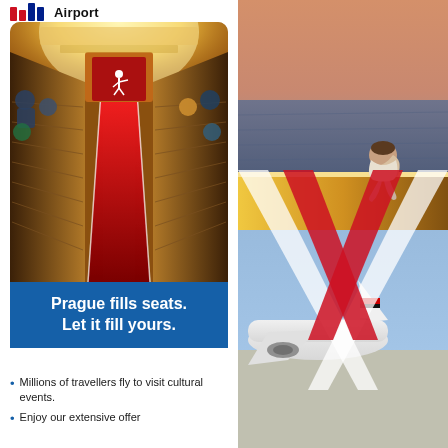[Figure (logo): Prague Airport logo with red chevron/bars and 'Airport' text]
[Figure (photo): Theater/opera hall interior with red carpet aisle, golden wooden pews, glowing ceiling, and ballet dancer silhouette on stage with red curtain]
Prague fills seats. Let it fill yours.
Millions of travellers fly to visit cultural events.
Enjoy our extensive offer
[Figure (photo): Right panel composite: woman sitting on boat edge looking at sea/sunset (top half), airplane tail with red X overlay and plane on ground in sky (bottom half), with large white and red X letter overlaid across both photos]